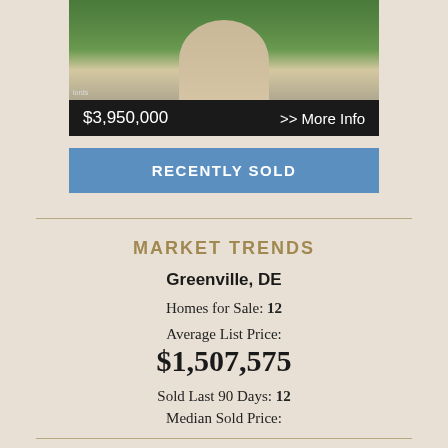[Figure (photo): Aerial or ground-level photo of a property driveway and green lawn leading to a house]
$3,950,000   >> More Info
RECENTLY SOLD
MARKET TRENDS
Greenville, DE
Homes for Sale: 12
Average List Price:
$1,507,575
Sold Last 90 Days: 12
Median Sold Price:
$1,024,500